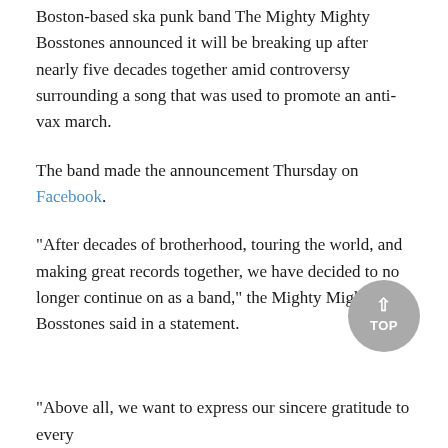Boston-based ska punk band The Mighty Mighty Bosstones announced it will be breaking up after nearly five decades together amid controversy surrounding a song that was used to promote an anti-vax march.
The band made the announcement Thursday on Facebook.
"After decades of brotherhood, touring the world, and making great records together, we have decided to no longer continue on as a band," the Mighty Mighty Bosstones said in a statement.
"Above all, we want to express our sincere gratitude to every